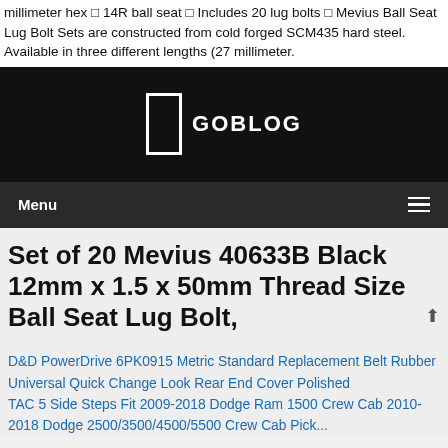millimeter hex ◻ 14R ball seat ◻ Includes 20 lug bolts ◻ Mevius Ball Seat Lug Bolt Sets are constructed from cold forged SCM435 hard steel. Available in three different lengths (27 millimeter.
[Figure (logo): GOBLOG logo on black background with a white rectangular icon outline and bold white text 'GOBLOG']
Menu
Set of 20 Mevius 40633B Black 12mm x 1.5 x 50mm Thread Size Ball Seat Lug Bolt,
D&D PowerDrive 6PK0915 Metric Standard Replacement Belt Rubber
Universal Quick Change Look Rear End Cover Polished
TAC 5 Side Steps Fit 2009-2018 Dodge Ram 1500 Crew Cab 2010-2018 Dodge 2500/3500/4500/5500 Crew Cab Pickup Truck...